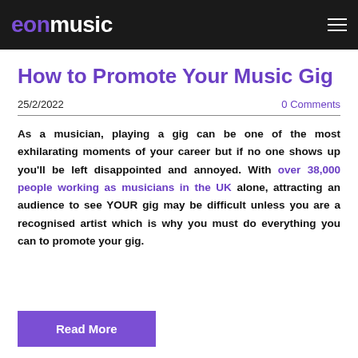eonmusic
How to Promote Your Music Gig
25/2/2022   0 Comments
As a musician, playing a gig can be one of the most exhilarating moments of your career but if no one shows up you'll be left disappointed and annoyed. With over 38,000 people working as musicians in the UK alone, attracting an audience to see YOUR gig may be difficult unless you are a recognised artist which is why you must do everything you can to promote your gig.
Read More